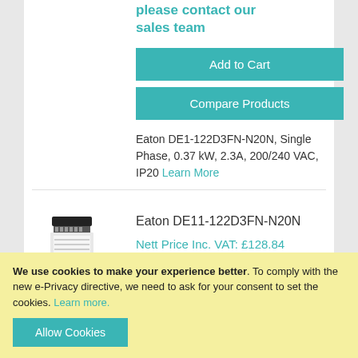please contact our sales team
Add to Cart
Compare Products
Eaton DE1-122D3FN-N20N, Single Phase, 0.37 kW, 2.3A, 200/240 VAC, IP20 Learn More
[Figure (photo): Eaton DE11-122D3FN-N20N variable frequency drive product image]
Eaton DE11-122D3FN-N20N
Nett Price Inc. VAT: £128.84
We use cookies to make your experience better. To comply with the new e-Privacy directive, we need to ask for your consent to set the cookies. Learn more.
Allow Cookies